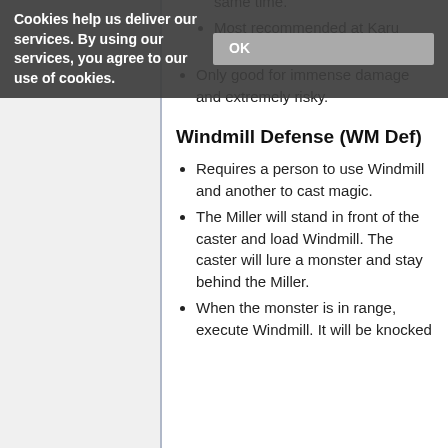Requires 2 or more people.
One will use Windmill and one will use Lightning Bolt.
This requires PRECISE timing to hit Windmill+Lightning Bolt at the same time.
Most recommended at Karu Stone Hounds.
Only good for immense damage and extremely risky.
Windmill Defense (WM Def)
Requires a person to use Windmill and another to cast magic.
The Miller will stand in front of the caster and load Windmill. The caster will lure a monster and stay behind the Miller.
When the monster is in range, execute Windmill. It will be knocked